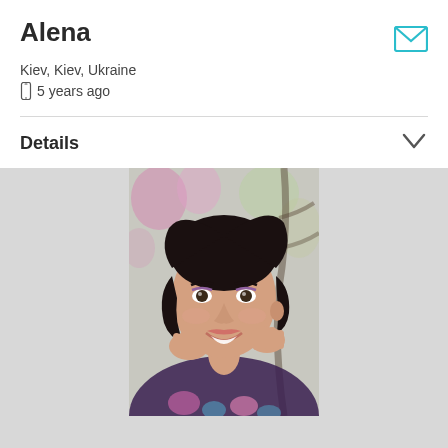Alena
Kiev, Kiev, Ukraine
5 years ago
Details
[Figure (photo): Profile photo of a young woman with dark hair, smiling, wearing a floral top, hands near her face]